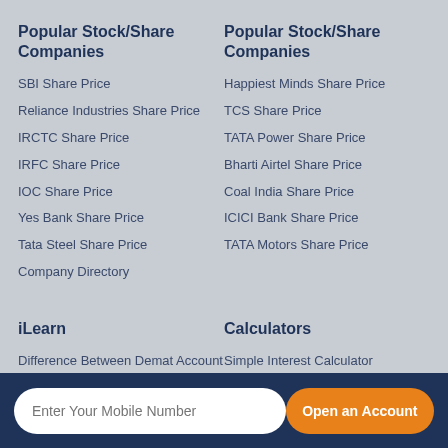Popular Stock/Share Companies
SBI Share Price
Reliance Industries Share Price
IRCTC Share Price
IRFC Share Price
IOC Share Price
Yes Bank Share Price
Tata Steel Share Price
Company Directory
Popular Stock/Share Companies
Happiest Minds Share Price
TCS Share Price
TATA Power Share Price
Bharti Airtel Share Price
Coal India Share Price
ICICI Bank Share Price
TATA Motors Share Price
iLearn
Difference Between Demat Account and Trading Account
Difference Between Dematerialisation and Rematerialisation
Calculators
Simple Interest Calculator
Compound Interest Calculator
EBITDA Margin Calculator
Future Value Calculator